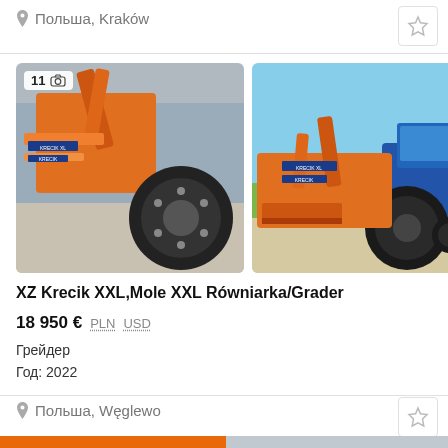Польша, Kraków
[Figure (photo): Orange road grader/mole machine close-up, showing large tire and hydraulic arm, with badge showing 11 photos]
[Figure (photo): Orange XZ Krecik grader/mole machine attached to a blue tractor, outdoors in a field]
XZ Krecik XXL,Mole XXL Równiarka/Grader
18 950 € PLN USD
Грейдер
Год: 2022
Польша, Węglewo